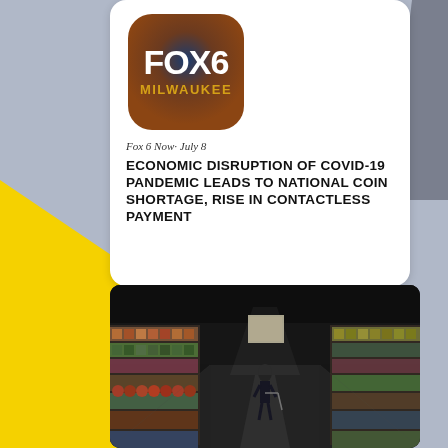[Figure (logo): FOX 6 Milwaukee logo — circular gradient (blue top, brown/orange bottom) with FOX6 in large white letters and MILWAUKEE below]
Fox 6 Now· July 8
ECONOMIC DISRUPTION OF COVID-19 PANDEMIC LEADS TO NATIONAL COIN SHORTAGE, RISE IN CONTACTLESS PAYMENT
[Figure (photo): Interior of a grocery store aisle — shelves stocked with products on both sides, a shopper with a cart in the middle distance, overhead lights illuminating the long aisle]